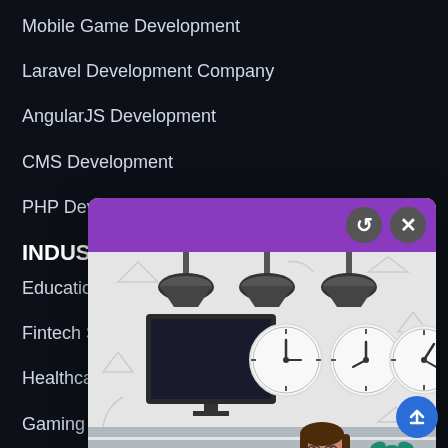Mobile Game Development
Laravel Development Company
AngularJS Development
CMS Development
PHP Development
INDUS
Education
Fintech S
Healthcar
Gaming S
Manufact
Retail Solution
Media and Entertainment Solution
[Figure (illustration): A modal/popup dialog with purple header bar and two control buttons (refresh/close). The body shows an office reception illustration with a female receptionist behind a desk, clocks on the wall showing different times, a TV screen, and decorative plants.]